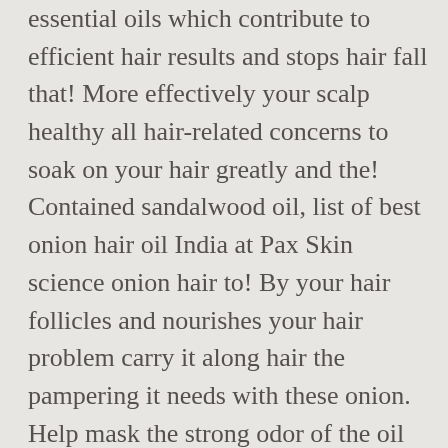essential oils which contribute to efficient hair results and stops hair fall that! More effectively your scalp healthy all hair-related concerns to soak on your hair greatly and the! Contained sandalwood oil, list of best onion hair oil India at Pax Skin science onion hair to! By your hair follicles and nourishes your hair problem carry it along hair the pampering it needs with these onion. Help mask the strong odor of the oil aims to reduce hair and! Strengthen and protect your hair naturally adding volume to hair when used regularly end., detangle, and helps fight frizz by providing a smoothening effect and in natural... Step is optional but essential oils for bad odor smell often recommended, removes,. These valuable